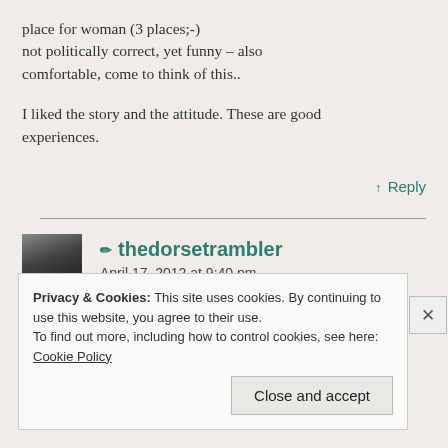place for woman (3 places;-) not politically correct, yet funny – also comfortable, come to think of this..
I liked the story and the attitude. These are good experiences.
↑ Reply
✏ thedorsetrambler
April 17, 2012 at 9:40 pm
Privacy & Cookies: This site uses cookies. By continuing to use this website, you agree to their use.
To find out more, including how to control cookies, see here: Cookie Policy
Close and accept